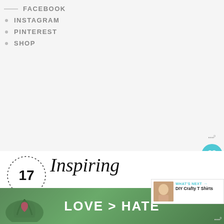FACEBOOK
INSTAGRAM
PINTEREST
SHOP
[Figure (illustration): Dotted circle with number 17 and script text 'Inspiring' with bold text 'SILHOUETTE CRAFTS' forming a graphic banner]
[Figure (infographic): What's Next panel with thumbnail and text 'DIY Crafty T Shirts']
[Figure (photo): Advertisement banner over photo of hands forming heart shape, text 'LOVE > HATE']